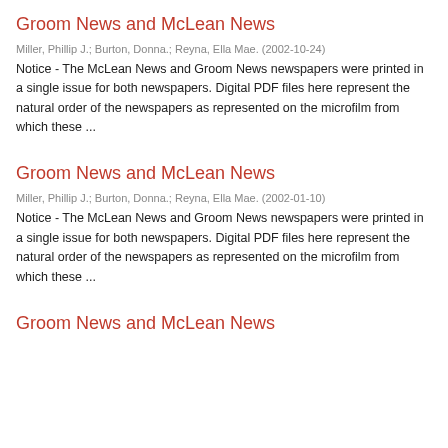Groom News and McLean News
Miller, Phillip J.; Burton, Donna.; Reyna, Ella Mae. (2002-10-24)
Notice - The McLean News and Groom News newspapers were printed in a single issue for both newspapers. Digital PDF files here represent the natural order of the newspapers as represented on the microfilm from which these ...
Groom News and McLean News
Miller, Phillip J.; Burton, Donna.; Reyna, Ella Mae. (2002-01-10)
Notice - The McLean News and Groom News newspapers were printed in a single issue for both newspapers. Digital PDF files here represent the natural order of the newspapers as represented on the microfilm from which these ...
Groom News and McLean News